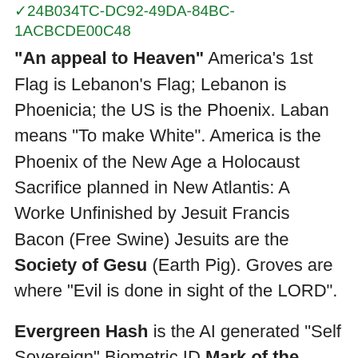✓24B034TC-DC92-49DA-84BC-1ACBCDE00C48
"An appeal to Heaven" America's 1st Flag is Lebanon's Flag; Lebanon is Phoenicia; the US is the Phoenix. Laban means "To make White". America is the Phoenix of the New Age a Holocaust Sacrifice planned in New Atlantis: A Worke Unfinished by Jesuit Francis Bacon (Free Swine) Jesuits are the Society of Gesu (Earth Pig). Groves are where "Evil is done in sight of the LORD".
Evergreen Hash is the AI generated "Self Sovereign" Biometric ID Mark of the Beast; a world Buying and Selling what God owns. Bee Careful folks! Coronavirus "Crowned Serpent Venom"; COVID 19 "God's Door"; Evergreen Hash (Evergreen= the 4th Horseman (Chloro=Green) Pale Horse (Gen 6:6) + Hash=4th Beast of Iron which breaks everything and everyone in pieces Dan 7:7). We are at the scene in Titanic when the ship breaks in 2 and heads for the bottom of the Atlantic; Remember the Demons called